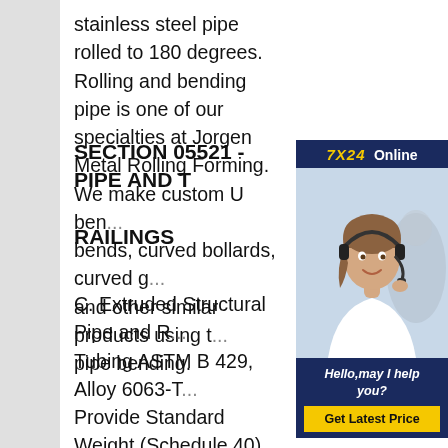stainless steel pipe rolled to 180 degrees. Rolling and bending pipe is one of our specialties at Jorgen Metal Rolling Forming. We make custom U bends, curved bollards, curved g and other similar products using t pipe bending.
[Figure (photo): Customer service representative with headset, 7X24 Online chat widget with 'Hello, may I help you?' text and 'Get Latest Price' button]
SECTION 05521 - PIPE AND T RAILINGS
C. Extruded Structural Pipe and R Tubing ASTM B 429, Alloy 6063-T Provide Standard Weight (Schedule 40) pipe, unless otherwise indicated. D. Drawn Seamless Tubing ASTM B 210, Alloy 6063-T832. E. Plate and Sheet ASTM B 209, Alloy 6061-T6. Schedule 40 Pipe Dies for Portabender Tube and Pipe